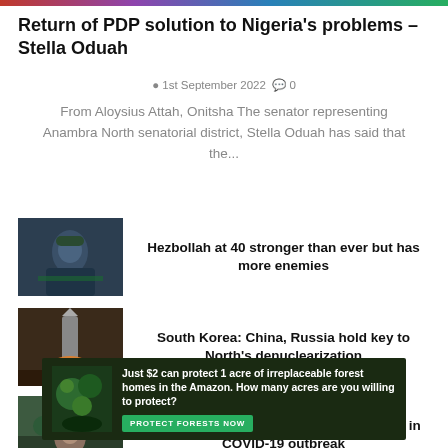Return of PDP solution to Nigeria's problems – Stella Oduah
1st September 2022   0
From Aloysius Attah, Onitsha The senator representing Anambra North senatorial district, Stella Oduah has said that the...
[Figure (photo): Hezbollah fighter in green military clothing]
Hezbollah at 40 stronger than ever but has more enemies
[Figure (photo): Rocket missile launch with flame]
South Korea: China, Russia hold key to North's denuclearization
[Figure (photo): Person in outdoor setting, China lockdown]
China locks down 21 million in Chengdu in COVID-19 outbreak
[Figure (photo): Forest Amazon advertisement with green leaves]
Just $2 can protect 1 acre of irreplaceable forest homes in the Amazon. How many acres are you willing to protect?
PROTECT FORESTS NOW